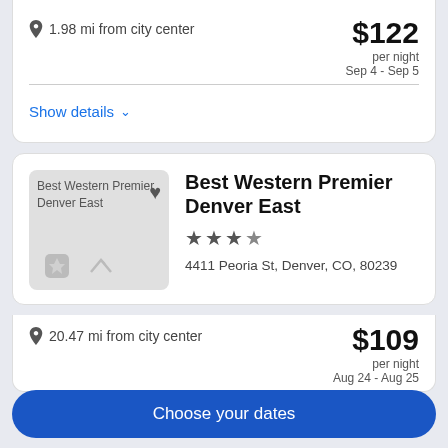1.98 mi from city center
$122 per night Sep 4 - Sep 5
Show details
Best Western Premier Denver East
4411 Peoria St, Denver, CO, 80239
20.47 mi from city center
$109 per night Aug 24 - Aug 25
Choose your dates